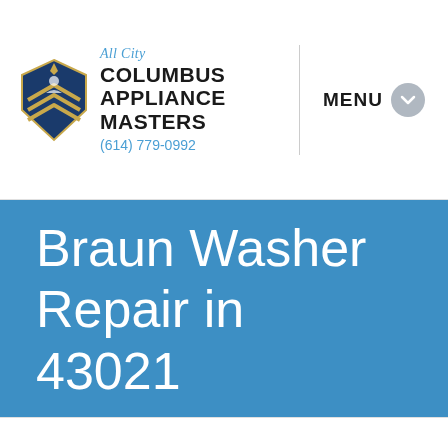All City COLUMBUS APPLIANCE MASTERS (614) 779-0992 | MENU
Braun Washer Repair in 43021